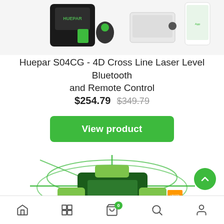[Figure (photo): Product images showing Huepar laser level device, remote, and smartphone app at top of page]
Huepar S04CG - 4D Cross Line Laser Level Bluetooth and Remote Control
$254.79  $349.79
[Figure (other): Green View product button]
[Figure (photo): Close-up photo of green Huepar laser level device emitting green laser beams in cross pattern]
[Figure (other): Green circular back-to-top arrow button]
Home  Grid  Cart (0)  Search  Account